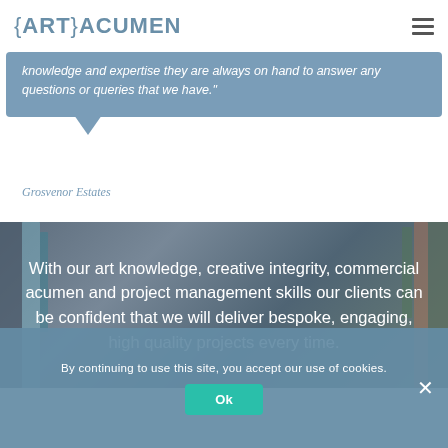{ART}ACUMEN
knowledge and expertise they are always on hand to answer any questions or queries that we have."
Grosvenor Estates
With our art knowledge, creative integrity, commercial acumen and project management skills our clients can be confident that we will deliver bespoke, engaging, high quality projects every time.
By continuing to use this site, you accept our use of cookies.